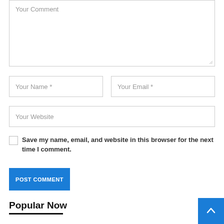[Figure (screenshot): Web comment form textarea with placeholder text 'Your Comment']
Your Name *
Your Email *
Your Website
Save my name, email, and website in this browser for the next time I comment.
POST COMMENT
Popular Now